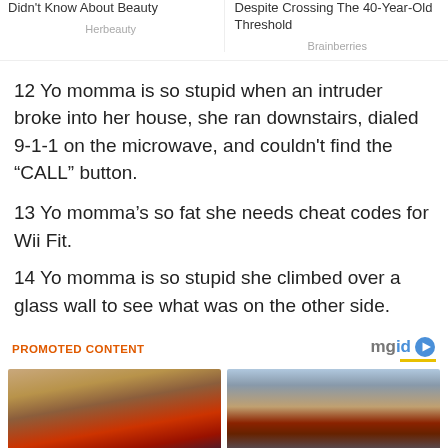Didn't Know About Beauty
Herbeauty
Despite Crossing The 40-Year-Old Threshold
Brainberries
12 Yo momma is so stupid when an intruder broke into her house, she ran downstairs, dialed 9-1-1 on the microwave, and couldn't find the “CALL” button.
13 Yo momma’s so fat she needs cheat codes for Wii Fit.
14 Yo momma is so stupid she climbed over a glass wall to see what was on the other side.
PROMOTED CONTENT
[Figure (photo): Photo of a man with blond hair wearing a red jacket, indoor setting with framed pictures on wall in background.]
[Figure (photo): Photo of a large outdoor crowd scene in a city with tall buildings in background.]